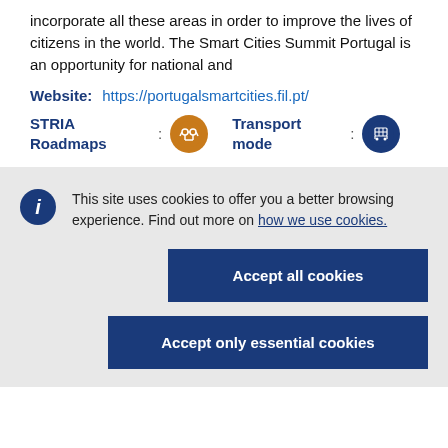incorporate all these areas in order to improve the lives of citizens in the world. The Smart Cities Summit Portugal is an opportunity for national and
Website: https://portugalsmartcities.fil.pt/
STRIA Roadmaps : [icon] Transport mode : [icon]
This site uses cookies to offer you a better browsing experience. Find out more on how we use cookies.
Accept all cookies
Accept only essential cookies